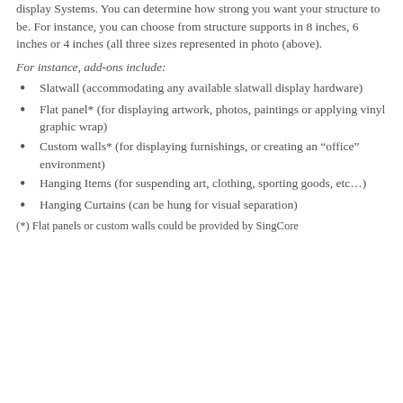display systems. You can determine how strong you want your structure to be. For instance, you can choose from structure supports in 8 inches, 6 inches or 4 inches (all three sizes represented in photo (above).
For instance, add-ons include:
Slatwall (accommodating any available slatwall display hardware)
Flat panel* (for displaying artwork, photos, paintings or applying vinyl graphic wrap)
Custom walls* (for displaying furnishings, or creating an “office” environment)
Hanging Items (for suspending art, clothing, sporting goods, etc…)
Hanging Curtains (can be hung for visual separation)
(*) Flat panels or custom walls could be provided by SingCore